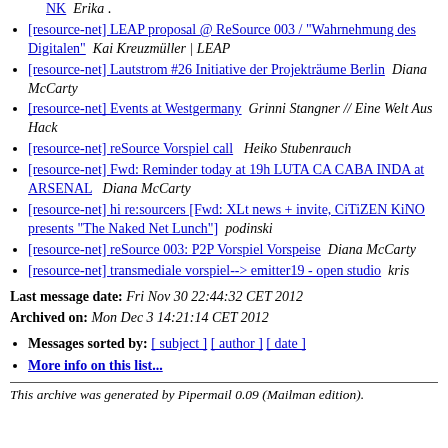NK  Erika .
[resource-net] LEAP proposal @ ReSource 003 / "Wahrnehmung des Digitalen"  Kai Kreuzmüller | LEAP
[resource-net] Lautstrom #26 Initiative der Projekträume Berlin  Diana McCarty
[resource-net] Events at Westgermany  Grinni Stangner // Eine Welt Aus Hack
[resource-net] reSource Vorspiel call  Heiko Stubenrauch
[resource-net] Fwd: Reminder today at 19h LUTA CA CABA INDA at ARSENAL  Diana McCarty
[resource-net] hi re:sourcers [Fwd: XLt news + invite, CiTiZEN KiNO presents "The Naked Net Lunch"]  podinski
[resource-net] reSource 003: P2P Vorspiel Vorspeise  Diana McCarty
[resource-net] transmediale vorspiel--> emitter19 - open studio  kris
Last message date: Fri Nov 30 22:44:32 CET 2012
Archived on: Mon Dec 3 14:21:14 CET 2012
Messages sorted by: [ subject ] [ author ] [ date ]
More info on this list...
This archive was generated by Pipermail 0.09 (Mailman edition).